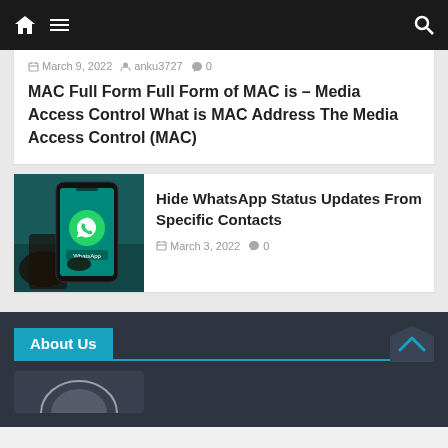Navigation bar with home icon, hamburger menu, and search icon
March 9, 2022  anku3727  0
MAC Full Form Full Form of MAC is – Media Access Control What is MAC Address The Media Access Control (MAC)
[Figure (photo): A hand holding a smartphone displaying the WhatsApp application with a teal/green background and the WhatsApp logo visible on screen]
Hide WhatsApp Status Updates From Specific Contacts
March 3, 2022  0
About Us
[Figure (logo): Partial circular logo at bottom of page in footer area]